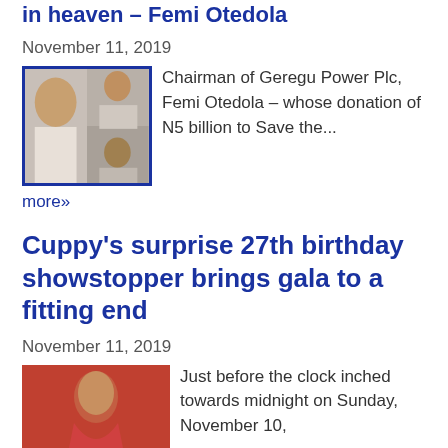in heaven – Femi Otedola
November 11, 2019
[Figure (photo): Two men in a collage photo, bordered in dark blue/purple]
Chairman of Geregu Power Plc, Femi Otedola – whose donation of N5 billion to Save the... more»
Cuppy's surprise 27th birthday showstopper brings gala to a fitting end
November 11, 2019
[Figure (photo): Woman in red dress at an event]
Just before the clock inched towards midnight on Sunday, November 10, 2019, at The Congress Hall... more»